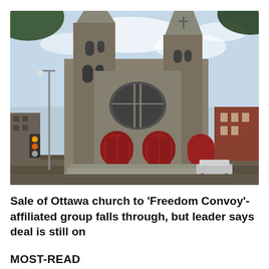[Figure (photo): Exterior photograph of a large Gothic-style stone church in Ottawa with tall spires, red doors, and surrounding urban street scene with traffic lights and trees. Overcast sky.]
Sale of Ottawa church to 'Freedom Convoy'-affiliated group falls through, but leader says deal is still on
MOST-READ
[Figure (photo): Close-up blurred photo, appears to show hands or fingers, warm orange/brown tones.]